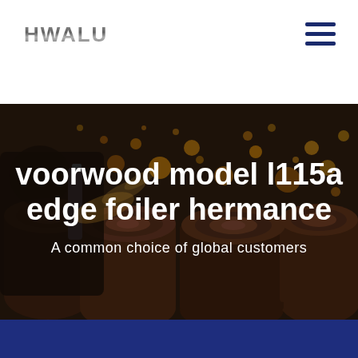HWALU
[Figure (photo): Industrial woodworking or sawmill scene with logs and sawdust flying, dark atmospheric background with amber/golden bokeh light effects]
voorwood model l115a edge foiler hermance
A common choice of global customers